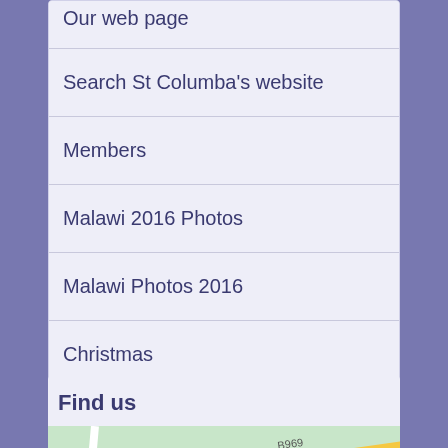Our web page
Search St Columba's website
Members
Malawi 2016 Photos
Malawi Photos 2016
Christmas
Labyrinth
Vacancies
Find us
[Figure (map): Map showing location with road B969 and a yellow road visible]